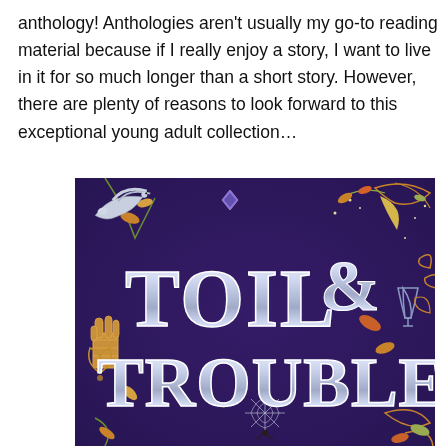anthology! Anthologies aren't usually my go-to reading material because if I really enjoy a story, I want to live in it for so much longer than a short story. However, there are plenty of reasons to look forward to this exceptional young adult collection…
[Figure (illustration): Book cover of 'Toil & Trouble' — a young adult anthology. Deep purple background with ornate illustrated lettering in silver/white chrome style. Decorative elements include a white dove, crescent moon, spiderwebs, a spider, botanical vines with autumn-colored leaves, a hand wearing a golden gauntlet, a poison goblet, roses, and swirling gold scrollwork. The title 'TOIL & TROUBLE' appears in large decorative serif lettering.]